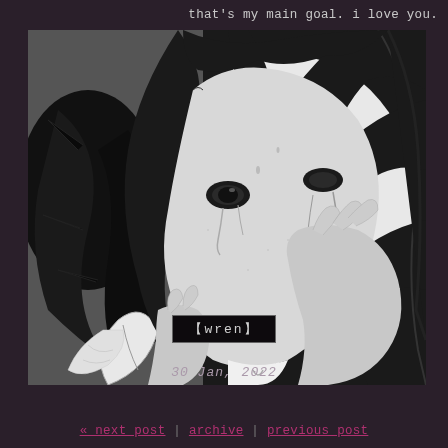that's my main goal. i love you.
[Figure (illustration): Black and white manga-style illustration of a girl with dark hair crying, holding her face in her hands, with a stylized dark creature or wing visible on the left side]
【wren】
30 Jan, 2022
« next post | archive | previous post